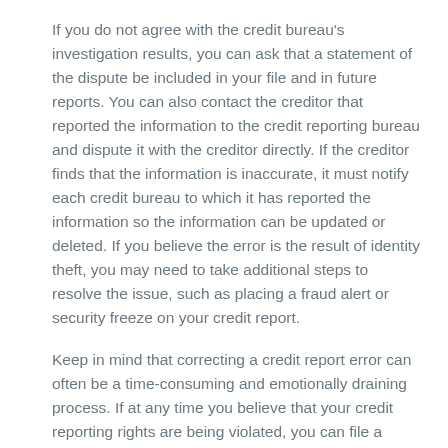If you do not agree with the credit bureau's investigation results, you can ask that a statement of the dispute be included in your file and in future reports. You can also contact the creditor that reported the information to the credit reporting bureau and dispute it with the creditor directly. If the creditor finds that the information is inaccurate, it must notify each credit bureau to which it has reported the information so the information can be updated or deleted. If you believe the error is the result of identity theft, you may need to take additional steps to resolve the issue, such as placing a fraud alert or security freeze on your credit report.
Keep in mind that correcting a credit report error can often be a time-consuming and emotionally draining process. If at any time you believe that your credit reporting rights are being violated, you can file a complaint with the Consumer Financial Protection Bureau at consumerfinance.gov.